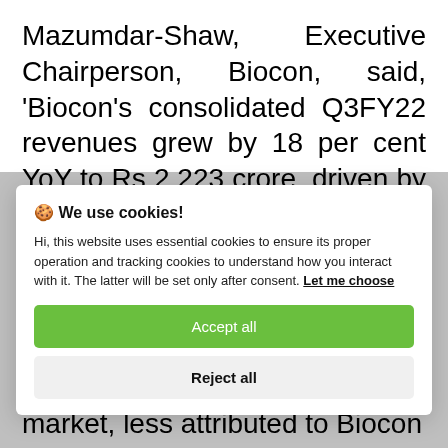Mazumdar-Shaw, Executive Chairperson, Biocon, said, 'Biocon's consolidated Q3FY22 revenues grew by 18 per cent YoY to Rs 2,223 crore, driven by a strong performance across all business
[Figure (screenshot): Cookie consent modal dialog with title 'We use cookies!', body text about essential and tracking cookies, a 'Let me choose' link, an 'Accept all' green button, and a 'Reject all' light gray button.]
market, less attributed to Biocon